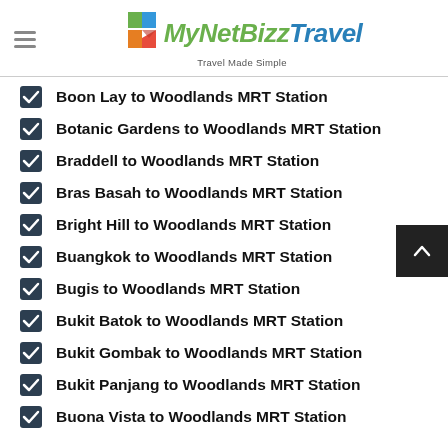MyNetBizzTravel — Travel Made Simple
Boon Lay to Woodlands MRT Station
Botanic Gardens to Woodlands MRT Station
Braddell to Woodlands MRT Station
Bras Basah to Woodlands MRT Station
Bright Hill to Woodlands MRT Station
Buangkok to Woodlands MRT Station
Bugis to Woodlands MRT Station
Bukit Batok to Woodlands MRT Station
Bukit Gombak to Woodlands MRT Station
Bukit Panjang to Woodlands MRT Station
Buona Vista to Woodlands MRT Station